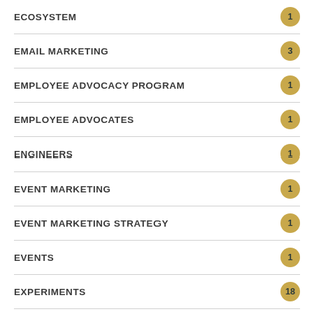ECOSYSTEM
EMAIL MARKETING
EMPLOYEE ADVOCACY PROGRAM
EMPLOYEE ADVOCATES
ENGINEERS
EVENT MARKETING
EVENT MARKETING STRATEGY
EVENTS
EXPERIMENTS
F8